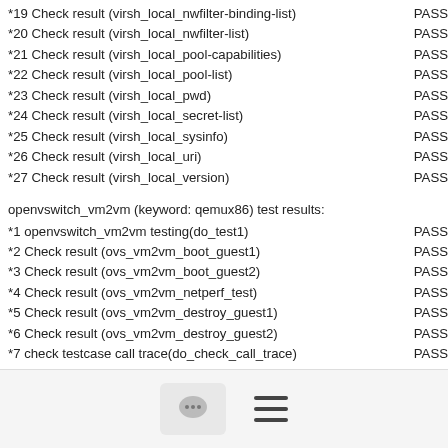*19 Check result (virsh_local_nwfilter-binding-list)    PASS
*20 Check result (virsh_local_nwfilter-list)    PASS
*21 Check result (virsh_local_pool-capabilities)    PASS
*22 Check result (virsh_local_pool-list)    PASS
*23 Check result (virsh_local_pwd)    PASS
*24 Check result (virsh_local_secret-list)    PASS
*25 Check result (virsh_local_sysinfo)    PASS
*26 Check result (virsh_local_uri)    PASS
*27 Check result (virsh_local_version)    PASS
openvswitch_vm2vm (keyword: qemux86) test results:
*1 openvswitch_vm2vm testing(do_test1)    PASS
*2 Check result (ovs_vm2vm_boot_guest1)    PASS
*3 Check result (ovs_vm2vm_boot_guest2)    PASS
*4 Check result (ovs_vm2vm_netperf_test)    PASS
*5 Check result (ovs_vm2vm_destroy_guest1)    PASS
*6 Check result (ovs_vm2vm_destroy_guest2)    PASS
*7 check testcase call trace(do_check_call_trace)    PASS
Signed-off-by: Yanfei Yu <yanfei.yu@...>